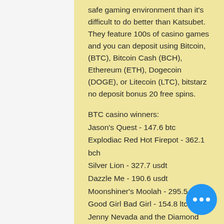safe gaming environment than it's difficult to do better than Katsubet. They feature 100s of casino games and you can deposit using Bitcoin, (BTC), Bitcoin Cash (BCH), Ethereum (ETH), Dogecoin (DOGE), or Litecoin (LTC), bitstarz no deposit bonus 20 free spins.
BTC casino winners:
Jason's Quest - 147.6 btc
Explodiac Red Hot Firepot - 362.1 bch
Silver Lion - 327.7 usdt
Dazzle Me - 190.6 usdt
Moonshiner's Moolah - 295.5 dog
Good Girl Bad Girl - 154.8 ltc
Jenny Nevada and the Diamond Temple - 219.8 usdt
Leonardo's Loot - 517.7 bch
Wild Rubies Christmas Edition - 24.8 btc
Big Bad Wolf - 518.2 eth
Black Hawk - 712.2 usdt
Ming Dynasty - 481 btc